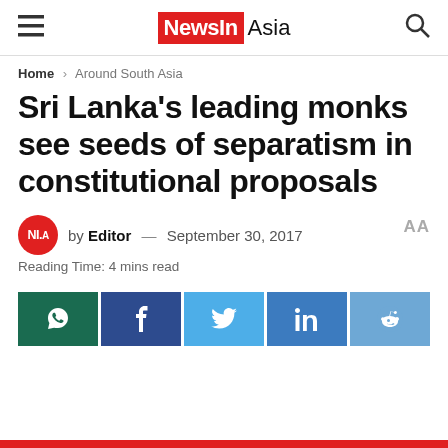NewsIn Asia
Home > Around South Asia
Sri Lanka's leading monks see seeds of separatism in constitutional proposals
by Editor — September 30, 2017
Reading Time: 4 mins read
[Figure (infographic): Social media share buttons: WhatsApp, Facebook, Twitter, LinkedIn, Reddit]